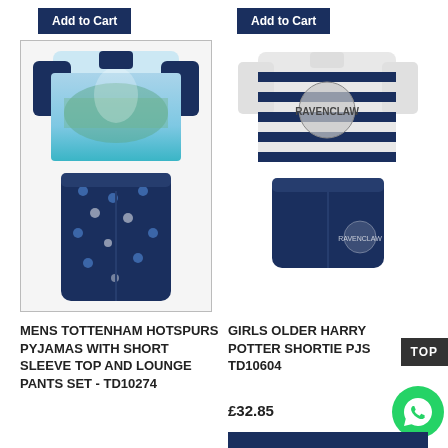Add to Cart
Add to Cart
[Figure (photo): Mens Tottenham Hotspurs pyjamas product photo showing navy short sleeve top with stadium print and navy lounge pants with club logo pattern, shown in a bordered box]
[Figure (photo): Girls Harry Potter Ravenclaw shortie PJs product photo showing blue and white striped short sleeve top with Ravenclaw crest and navy shorts with logo]
MENS TOTTENHAM HOTSPURS PYJAMAS WITH SHORT SLEEVE TOP AND LOUNGE PANTS SET - TD10274
GIRLS OLDER HARRY POTTER SHORTIE PJS TD10604
£32.85
TOP
[Figure (logo): WhatsApp icon - green circle with white phone handset]